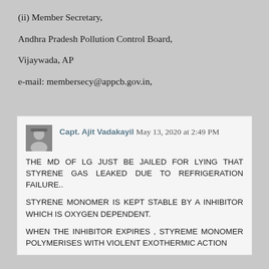(ii) Member Secretary,
Andhra Pradesh Pollution Control Board,
Vijaywada, AP
e-mail: membersecy@appcb.gov.in,
Capt. Ajit Vadakayil May 13, 2020 at 2:49 PM
THE MD OF LG JUST BE JAILED FOR LYING THAT STYRENE GAS LEAKED DUE TO REFRIGERATION FAILURE..

STYRENE MONOMER IS KEPT STABLE BY A INHIBITOR WHICH IS OXYGEN DEPENDENT.

WHEN THE INHIBITOR EXPIRES , STYREME MONOMER POLYMERISES WITH VIOLENT EXOTHERMIC ACTION